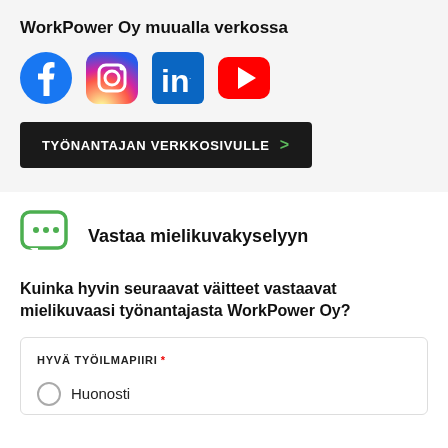WorkPower Oy muualla verkossa
[Figure (logo): Social media icons: Facebook, Instagram, LinkedIn, YouTube]
TYÖNANTAJAN VERKKOSIVULLE >
[Figure (illustration): Green speech bubble icon with three dots (chat bubble)]
Vastaa mielikuvakyselyyn
Kuinka hyvin seuraavat väitteet vastaavat mielikuvaasi työnantajasta WorkPower Oy?
HYVÄ TYÖILMAPIIRI *
Huonosti